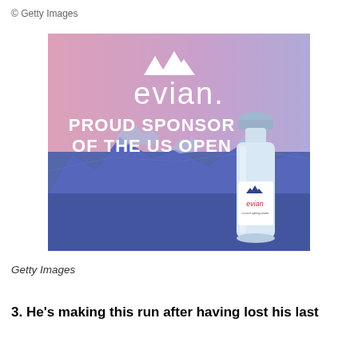© Getty Images
[Figure (photo): Evian water advertisement showing the evian logo with mountains icon above it, text reading 'PROUD SPONSOR OF THE US OPEN' on a pink-to-blue gradient background with snowy mountain landscape in lower half and an evian water bottle on the right side.]
Getty Images
3. He's making this run after having lost his last